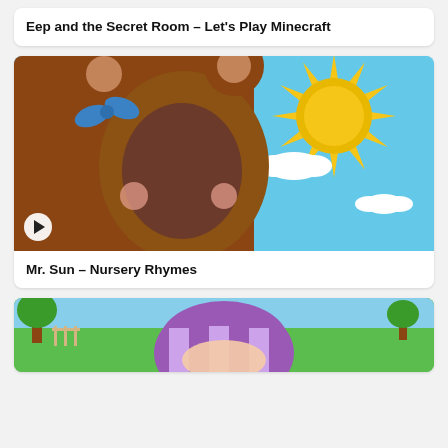Eep and the Secret Room – Let's Play Minecraft
[Figure (photo): Person dressed in a brown teddy bear costume with a blue bow and pink cheeks, smiling widely against a colorful sky background with a large cartoon sun and clouds. A play button icon is in the lower left corner.]
Mr. Sun – Nursery Rhymes
[Figure (illustration): Animated cartoon character with a purple and white striped helmet/hat, partial view, with green trees and outdoor background visible.]